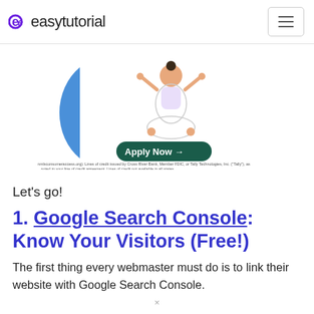easytutorial
[Figure (illustration): Advertisement banner with a person in a yoga/meditation pose, a blue semicircle shape, an 'Apply Now' button on dark green background, and fine print text: 'Tally Technologies, Inc. NMLS #1492782 (nmlsconsumeraccess.org). Lines of credit issued by Cross River Bank, Member FDIC, or Tally Technologies, Inc. ("Tally"), as noted in your line of credit agreement. Lines of credit not available in all states.']
Let's go!
1. Google Search Console: Know Your Visitors (Free!)
The first thing every webmaster must do is to link their website with Google Search Console.